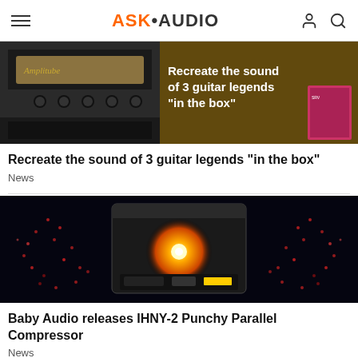ASK•AUDIO
[Figure (screenshot): Guitar amplifier plugin screenshot with text 'Recreate the sound of 3 guitar legends in the box']
Recreate the sound of 3 guitar legends "in the box"
News
[Figure (screenshot): Baby Audio IHNY-2 Punchy Parallel Compressor plugin interface with glowing orb on dark background]
Baby Audio releases IHNY-2 Punchy Parallel Compressor
News
[Figure (photo): Partial image of another article at the bottom of the page]